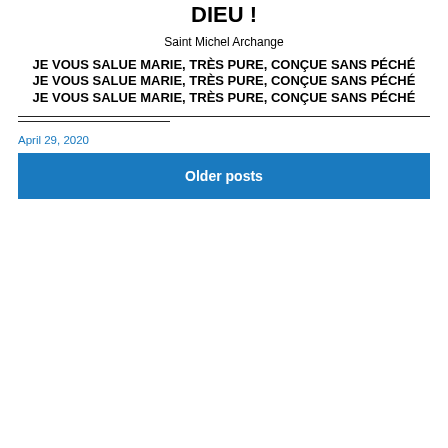DIEU !
Saint Michel Archange
JE VOUS SALUE MARIE, TRÈS PURE, CONÇUE SANS PÉCHÉ
JE VOUS SALUE MARIE, TRÈS PURE, CONÇUE SANS PÉCHÉ
JE VOUS SALUE MARIE, TRÈS PURE, CONÇUE SANS PÉCHÉ
April 29, 2020
Older posts